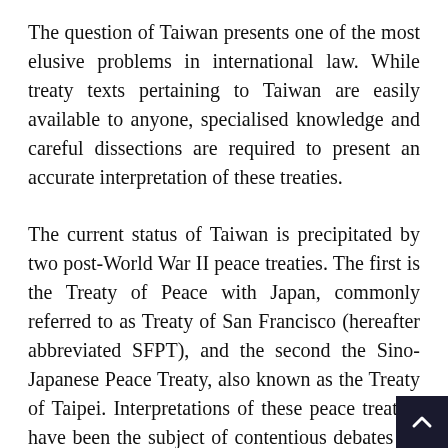The question of Taiwan presents one of the most elusive problems in international law. While treaty texts pertaining to Taiwan are easily available to anyone, specialised knowledge and careful dissections are required to present an accurate interpretation of these treaties.
The current status of Taiwan is precipitated by two post-World War II peace treaties. The first is the Treaty of Peace with Japan, commonly referred to as Treaty of San Francisco (hereafter abbreviated SFPT), and the second the Sino-Japanese Peace Treaty, also known as the Treaty of Taipei. Interpretations of these peace treaties have been the subject of contentious debates on political factions in Taiwan and